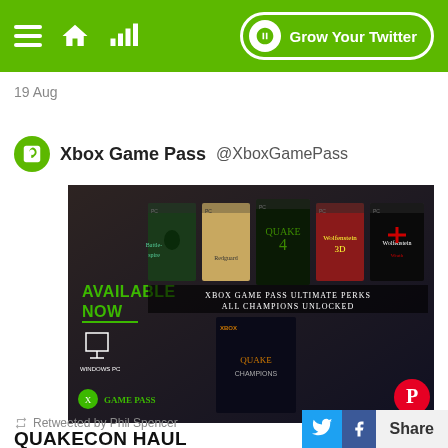Navigation bar with hamburger menu, home icon, signal icon, and Grow Your Twitter button
19 Aug
Xbox Game Pass @XboxGamePass
[Figure (screenshot): Xbox Game Pass promotional image showing game covers: Battlespire, Redguard, Quake 4, Wolfenstein 3D, Wolfenstein Wrath. Text reads AVAILABLE NOW on WINDOWS PC and XBOX GAME PASS ULTIMATE PERKS ALL CHAMPIONS UNLOCKED with Quake Champions game cover at bottom. GAME PASS logo bottom left. Pinterest logo bottom right.]
QUAKECON HAUL
Retweeted by Phil Spencer